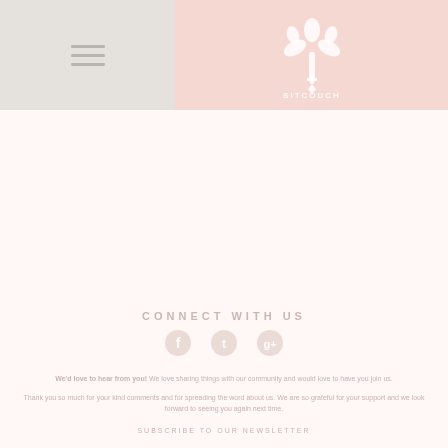[Figure (logo): Hamburger menu icon (three horizontal lines) on grey background, left side of header]
[Figure (logo): White floral/wheat crest logo with text 'SITCOUCH' on pink/salmon background]
CONNECT WITH US
[Figure (illustration): Social media icons: Facebook, Twitter, Google+ in light pink/rose color]
We'd love to hear from you! We love sharing things with our community and would love to have you join us.
Thank you so much for your kind comments and for spreading the word about us. We are so grateful for your support and we look forward to seeing you again next time.
SUBSCRIBE TO OUR NEWSLETTER
Copyright 2016, All rights reserved. Reproduction of any content requires written permission. | Privacy & Disclosure | Contact Us